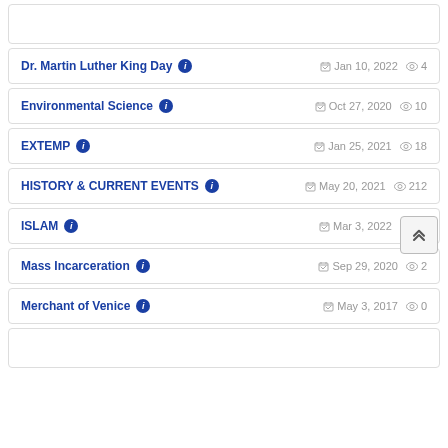Dr. Martin Luther King Day — Jan 10, 2022 — views: 4
Environmental Science — Oct 27, 2020 — views: 10
EXTEMP — Jan 25, 2021 — views: 18
HISTORY & CURRENT EVENTS — May 20, 2021 — views: 212
ISLAM — Mar 3, 2022 — views: 23
Mass Incarceration — Sep 29, 2020 — views: 2
Merchant of Venice — May 3, 2017 — views: 0